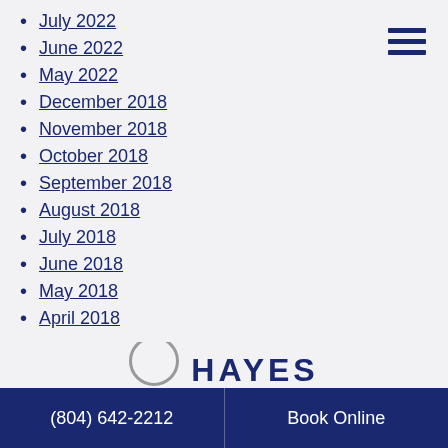July 2022
June 2022
May 2022
December 2018
November 2018
October 2018
September 2018
August 2018
July 2018
June 2018
May 2018
April 2018
(804) 642-2212   Book Online